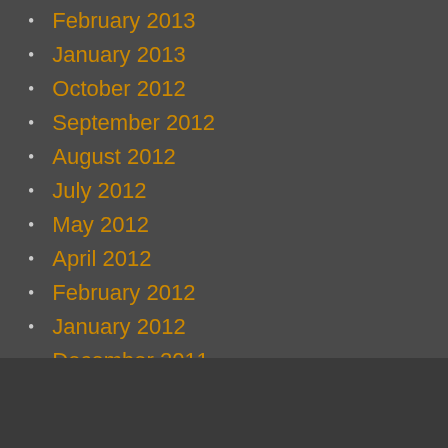February 2013
January 2013
October 2012
September 2012
August 2012
July 2012
May 2012
April 2012
February 2012
January 2012
December 2011